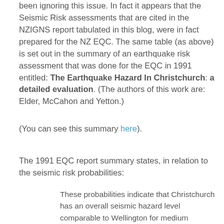been ignoring this issue. In fact it appears that the Seismic Risk assessments that are cited in the NZIGNS report tabulated in this blog, were in fact prepared for the NZ EQC. The same table (as above) is set out in the summary of an earthquake risk assessment that was done for the EQC in 1991 entitled: The Earthquake Hazard In Christchurch: a detailed evaluation. (The authors of this work are: Elder, McCahon and Yetton.)
(You can see this summary here).
The 1991 EQC report summary states, in relation to the seismic risk probabilities:
These probabilities indicate that Christchurch has an overall seismic hazard level comparable to Wellington for medium intensity earthquake shaking… The greatest concern for Christchurch, located near a saturated, sand and silt rich, prograding coastline, is the potential for liquefaction…. This may cause subsidence, foundation failure and damage to services. Analysis shows that large areas of the city are underlain by sands or silts